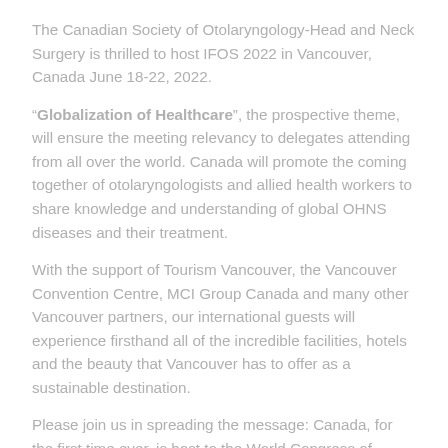The Canadian Society of Otolaryngology-Head and Neck Surgery is thrilled to host IFOS 2022 in Vancouver, Canada June 18-22, 2022.
"Globalization of Healthcare", the prospective theme, will ensure the meeting relevancy to delegates attending from all over the world. Canada will promote the coming together of otolaryngologists and allied health workers to share knowledge and understanding of global OHNS diseases and their treatment.
With the support of Tourism Vancouver, the Vancouver Convention Centre, MCI Group Canada and many other Vancouver partners, our international guests will experience firsthand all of the incredible facilities, hotels and the beauty that Vancouver has to offer as a sustainable destination.
Please join us in spreading the message: Canada, for the first time ever, is host to the World Congress of Otolaryngology. Join us to make IFOS 2022 Vancouver congress a success.